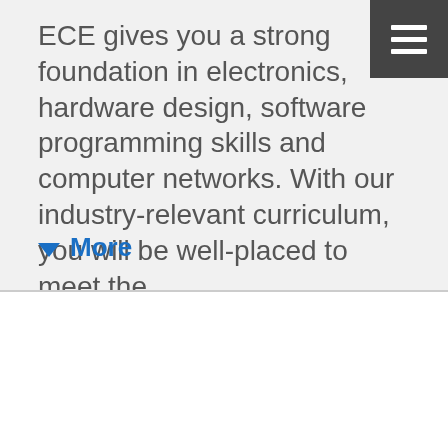ECE gives you a strong foundation in electronics, hardware design, software programming skills and computer networks. With our industry-relevant curriculum, you will be well-placed to meet the
▼ More
Curious about why I chose ECE? Watch this!
[Figure (screenshot): YouTube video thumbnail for 'Of Course NP - Electronic & Computer Engineering' channel (AskNP), showing a smiley face logo, channel logo with NGEE badge, play button, and a person in background. Text overlay shows 'OF COURSE', 'NGE ANN POLY', 'ELECTRONIC &']